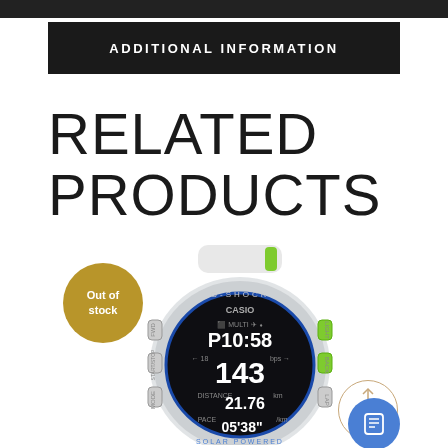ADDITIONAL INFORMATION
RELATED PRODUCTS
[Figure (photo): Casio G-SHOCK smartwatch with transparent case and green accents showing fitness tracking display with time 10:58, heart rate 143, distance 21.76km, pace 05:38, labeled 'Solar Powered'. An 'Out of stock' badge overlaid in gold circle.]